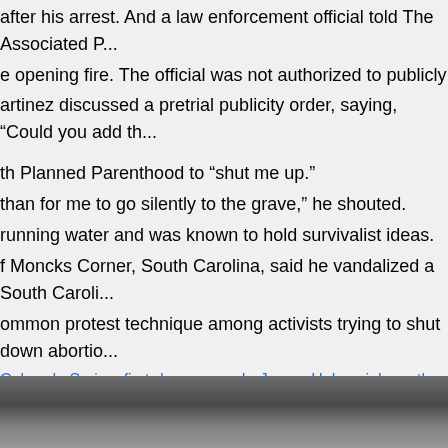after his arrest. And a law enforcement official told The Associated P... e opening fire. The official was not authorized to publicly discuss the...
artinez discussed a pretrial publicity order, saying, "Could you add th...
th Planned Parenthood to "shut me up."
than for me to go silently to the grave," he shouted.
running water and was known to hold survivalist ideas.
f Moncks Corner, South Carolina, said he vandalized a South Caroli...
ommon protest technique among activists trying to shut down abortio...
ty of Colorado-Colorado Springs officer who rushed to the scene; Ke...
kovsky, 35, who also accompanied a friend at the clinic.
age.
t responding officers rescued 24 people from inside the clinic buildin...
ing unfolded.
st-degree murder conviction can lead to life in prison or the death pe...
t Dear and said, "Are you finished?"
Colorado Springsfirst-degree murderJames Holmesjohn suthersoutbu...
[Figure (photo): Bottom strip showing a partial photo of a person, cropped at the bottom of the page]